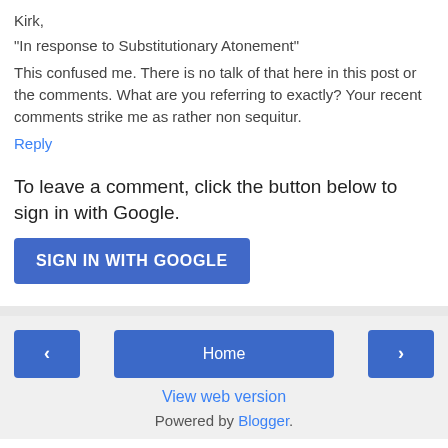Kirk,
"In response to Substitutionary Atonement"
This confused me. There is no talk of that here in this post or the comments. What are you referring to exactly? Your recent comments strike me as rather non sequitur.
Reply
To leave a comment, click the button below to sign in with Google.
[Figure (other): Blue 'SIGN IN WITH GOOGLE' button]
< Home > View web version Powered by Blogger.